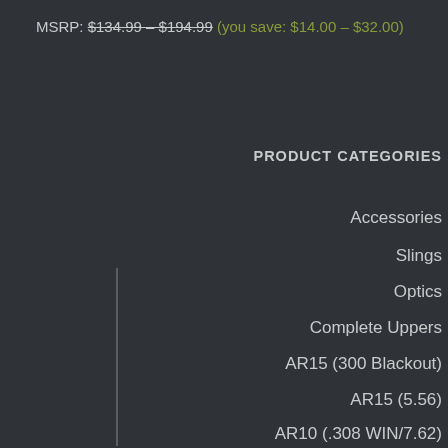MSRP: $134.99 – $194.99 (you save: $14.00 – $32.00)
PRODUCT CATEGORIES
Accessories
Slings
Optics
Complete Uppers
AR15 (300 Blackout)
AR15 (5.56)
AR10 (.308 WIN/7.62)
Components
Back-up Iron Sights
Buffer Assembly
Barrels
Bolt Carrier Group